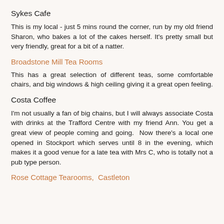Sykes Cafe
This is my local - just 5 mins round the corner, run by my old friend Sharon, who bakes a lot of the cakes herself. It's pretty small but very friendly, great for a bit of a natter.
Broadstone Mill Tea Rooms
This has a great selection of different teas, some comfortable chairs, and big windows & high ceiling giving it a great open feeling.
Costa Coffee
I'm not usually a fan of big chains, but I will always associate Costa with drinks at the Trafford Centre with my friend Ann. You get a great view of people coming and going.  Now there's a local one opened in Stockport which serves until 8 in the evening, which makes it a good venue for a late tea with Mrs C, who is totally not a pub type person.
Rose Cottage Tearooms,  Castleton